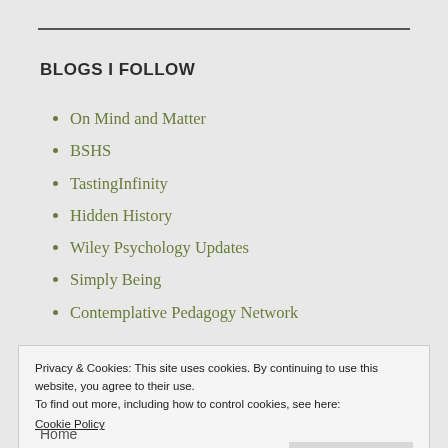BLOGS I FOLLOW
On Mind and Matter
BSHS
TastingInfinity
Hidden History
Wiley Psychology Updates
Simply Being
Contemplative Pedagogy Network
Privacy & Cookies: This site uses cookies. By continuing to use this website, you agree to their use.
To find out more, including how to control cookies, see here:
Cookie Policy
Close and accept
Home